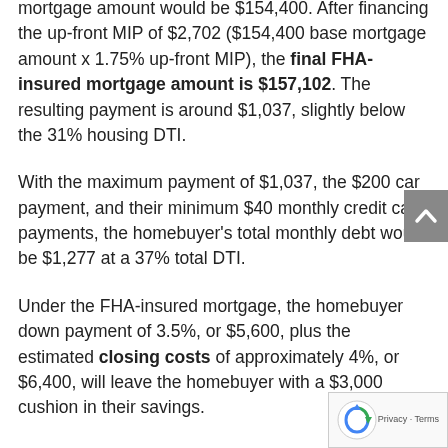mortgage amount would be $154,400. After financing the up-front MIP of $2,702 ($154,400 base mortgage amount x 1.75% up-front MIP), the final FHA-insured mortgage amount is $157,102. The resulting payment is around $1,037, slightly below the 31% housing DTI.
With the maximum payment of $1,037, the $200 car payment, and their minimum $40 monthly credit card payments, the homebuyer's total monthly debt would be $1,277 at a 37% total DTI.
Under the FHA-insured mortgage, the homebuyer down payment of 3.5%, or $5,600, plus the estimated closing costs of approximately 4%, or $6,400, will leave the homebuyer with a $3,000 cushion in their savings.